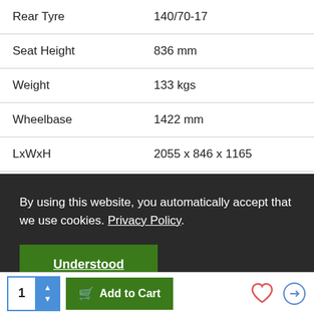| Specification | Value |
| --- | --- |
| Rear Tyre | 140/70-17 |
| Seat Height | 836 mm |
| Weight | 133 kgs |
| Wheelbase | 1422 mm |
| LxWxH | 2055 x 846 x 1165 |
| Battery | 5 ATS 5 nita miles |
By using this website, you automatically accept that we use cookies. Privacy Policy
Understood
Battery  5 ATS 5 nita miles
1  Add to Cart